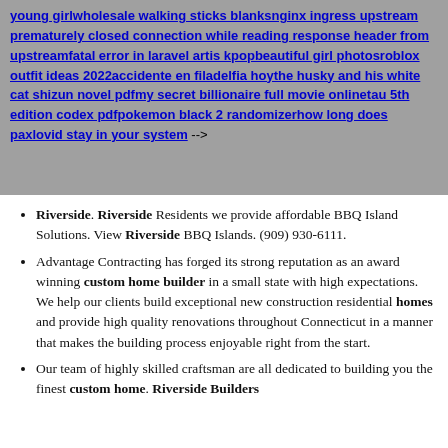young girlwholesale walking sticks blanksnginx ingress upstream prematurely closed connection while reading response header from upstreamfatal error in laravel artis kpopbeautiful girl photosroblox outfit ideas 2022accidente en filadelfia hoythe husky and his white cat shizun novel pdfmy secret billionaire full movie onlinetau 5th edition codex pdfpokemon black 2 randomizerhow long does paxlovid stay in your system -->
Riverside. Riverside Residents we provide affordable BBQ Island Solutions. View Riverside BBQ Islands. (909) 930-6111.
Advantage Contracting has forged its strong reputation as an award winning custom home builder in a small state with high expectations. We help our clients build exceptional new construction residential homes and provide high quality renovations throughout Connecticut in a manner that makes the building process enjoyable right from the start.
Our team of highly skilled craftsman are all dedicated to building you the finest custom home. Riverside Builders